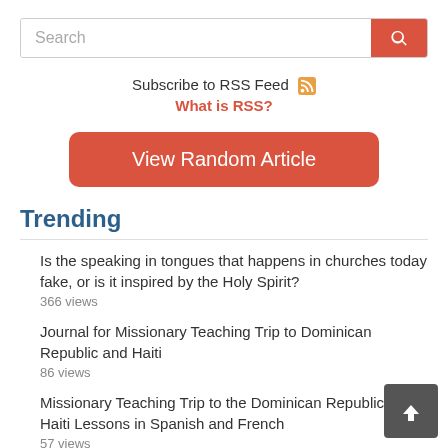Search
Subscribe to RSS Feed
What is RSS?
View Random Article
Trending
Is the speaking in tongues that happens in churches today fake, or is it inspired by the Holy Spirit?
366 views
Journal for Missionary Teaching Trip to Dominican Republic and Haiti
86 views
Missionary Teaching Trip to the Dominican Republic and Haiti Lessons in Spanish and French
57 views
If the Jews had uncorrupted prophetic books, then why are